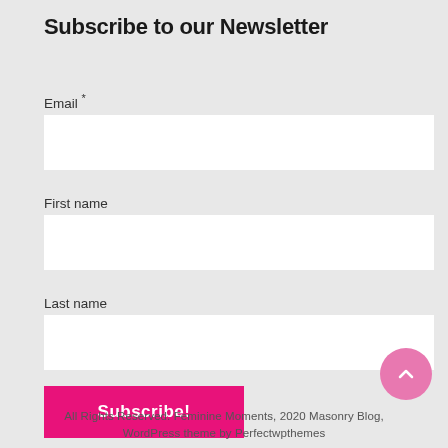Subscribe to our Newsletter
Email *
[Figure (other): Email input text box (empty, white background)]
First name
[Figure (other): First name input text box (empty, white background)]
Last name
[Figure (other): Last name input text box (empty, white background)]
[Figure (other): Subscribe! button in magenta/pink color]
[Figure (other): Back to top circular pink button with upward chevron]
All Rights Reserved. Feminine Moments, 2020 Masonry Blog, WordPress theme by Perfectwpthemes